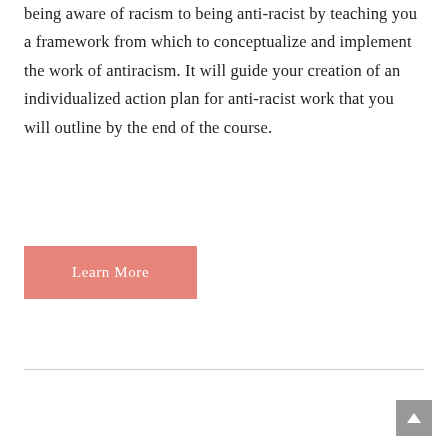being aware of racism to being anti-racist by teaching you a framework from which to conceptualize and implement the work of antiracism. It will guide your creation of an individualized action plan for anti-racist work that you will outline by the end of the course.
Learn More